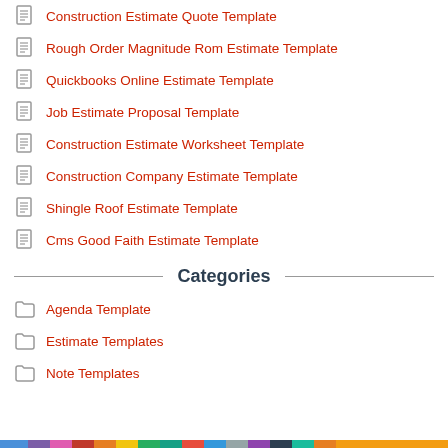Construction Estimate Quote Template
Rough Order Magnitude Rom Estimate Template
Quickbooks Online Estimate Template
Job Estimate Proposal Template
Construction Estimate Worksheet Template
Construction Company Estimate Template
Shingle Roof Estimate Template
Cms Good Faith Estimate Template
Categories
Agenda Template
Estimate Templates
Note Templates